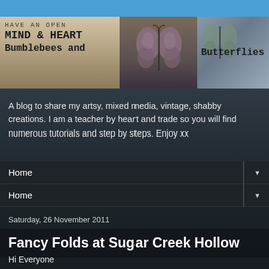[Figure (photo): Blog banner header image showing text 'HAVE AN OPEN MIND & HEART / Bumblebees and Butterflies' with butterfly images on a mixed background]
A blog to share my artsy, mixed media, vintage, shabby creations. I am a teacher by heart and trade so you will find numerous tutorials and step by steps. Enjoy xx
Home
Home
Saturday, 26 November 2011
Fancy Folds at Sugar Creek Hollow
Hi Everyone
I am really pleased and proud today to be a guest design